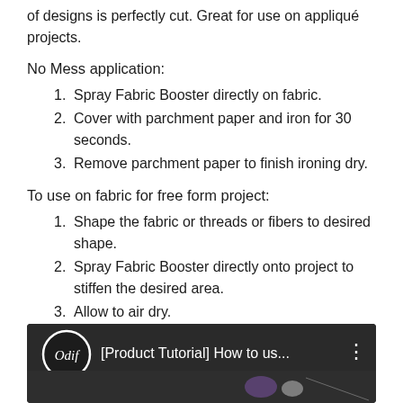of designs is perfectly cut. Great for use on appliqué projects.
No Mess application:
1. Spray Fabric Booster directly on fabric.
2. Cover with parchment paper and iron for 30 seconds.
3. Remove parchment paper to finish ironing dry.
To use on fabric for free form project:
1. Shape the fabric or threads or fibers to desired shape.
2. Spray Fabric Booster directly onto project to stiffen the desired area.
3. Allow to air dry.
After washing, fabric will return to its original state. Water based product. Acid free!
[Figure (screenshot): Video thumbnail showing Odif logo and title '[Product Tutorial] How to us...' with three dots menu on dark background]